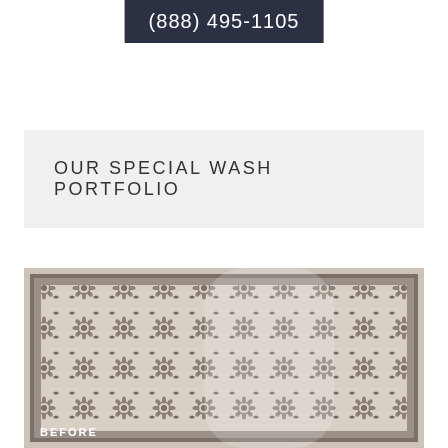(888) 495-1105
OUR SPECIAL WASH PORTFOLIO
[Figure (photo): Before photo of a Persian/Oriental style rug with floral pattern in gray and cream tones, shown before cleaning treatment. Label 'BEFORE' appears in lower left corner.]